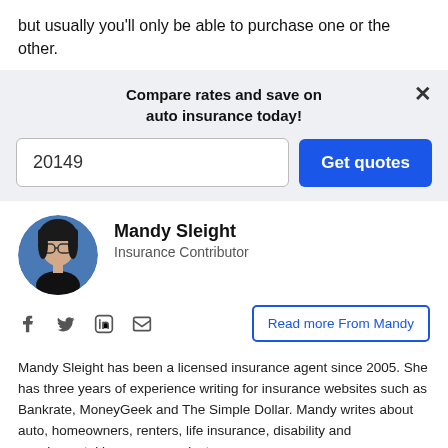but usually you'll only be able to purchase one or the other.
[Figure (infographic): Ad widget: 'Compare rates and save on auto insurance today!' with a zip code input field showing '20149' and a blue 'Get quotes' button, on a light gray background with a close (×) button.]
[Figure (photo): Circular portrait photo of Mandy Sleight, a woman with dark hair and glasses.]
Mandy Sleight
Insurance Contributor
[Figure (infographic): Social media icons: Facebook (f), Twitter (bird), LinkedIn (in), Email (envelope)]
Read more From Mandy
Mandy Sleight has been a licensed insurance agent since 2005. She has three years of experience writing for insurance websites such as Bankrate, MoneyGeek and The Simple Dollar. Mandy writes about auto, homeowners, renters, life insurance, disability and supplemental insurance products.